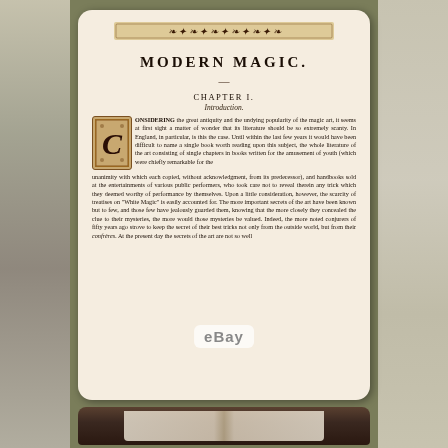[Figure (photo): Left side background photo strip showing outdoor scene with muted tones]
[Figure (photo): Right side background photo strip showing figure in white dress outdoors]
[Figure (photo): Scanned book page of 'Modern Magic', Chapter I, Introduction, showing ornamental header, drop capital C, and body text about the popularity of magic art. eBay watermark visible.]
MODERN MAGIC.
CHAPTER I.
Introduction.
CONSIDERING the great antiquity and the undying popularity of the magic art, it seems at first sight a matter of wonder that its literature should be so extremely scanty. In England, in particular, is this the case. Until within the last few years it would have been difficult to name a single book worth reading upon this subject, the whole literature of the art consisting of single chapters in books written for the amusement of youth (which were chiefly remarkable for the unanimity with which each copied, without acknowledgment, from its predecessor), and handbooks sold at the entertainments of various public performers, who took care not to reveal therein any trick which they deemed worthy of performance by themselves. Upon a little consideration, however, the scarcity of treatises on "White Magic" is easily accounted for. The more important secrets of the art have been known but to few, and those few have jealously guarded them, knowing that the more closely they concealed the clue to their mysteries, the more would those mysteries be valued. Indeed, the more noted conjurers of fifty years ago strove to keep the secret of their best tricks not only from the outside world, but from their confrères. At the present day the secrets of the art are not so well
[Figure (photo): Bottom panel showing open book from above, dark background with pages visible]